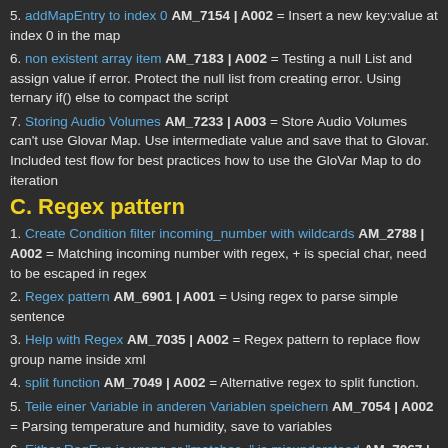5. addMapEntry to index 0 AM_7154 | A002 = Insert a new key:value at index 0 in the map
6. non existent array item AM_7183 | A002 = Testing a null List and assign value if error. Protect the null list from creating error. Using ternary if() else to compact the script
7. Storing Audio Volumes AM_7233 | A003 = Store Audio Volumes can't use Glovar Map. Use intermediate value and save that to Glovar. Included test flow for best practices how to use the GloVar Map to do iteration
C. Regex pattern
1. Create Condition filter incoming_number with wildcards AM_2788 | A002 = Matching incoming number with regex, + is special char, need to be escaped in regex
2. Regex pattern AM_6901 | A001 = Using regex to parse simple sentence
3. Help with Regex AM_7035 | A002 = Regex pattern to replace flow group name inside xml
4. split function AM_7049 | A002 = Alternative regex to split function.
5. Teile einer Variable in anderen Variablen speichern AM_7054 | A002 = Parsing temperature and humidity, save to variables
6. Either RegExp is wrong or "matches=" is misunderstood AM_7067 | A002 = Automagic regex tester works as it should be. But backslash should be escaped once more when used in regex related function
7. Greenify alternative: Automagic AM_7134 | A002 = Parsing data from dumpsys, finding recent app, and kill it